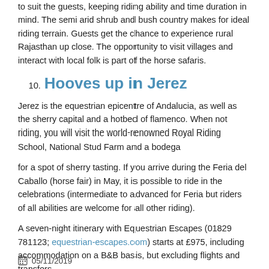to suit the guests, keeping riding ability and time duration in mind. The semi arid shrub and bush country makes for ideal riding terrain. Guests get the chance to experience rural Rajasthan up close. The opportunity to visit villages and interact with local folk is part of the horse safaris.
10. Hooves up in Jerez
Jerez is the equestrian epicentre of Andalucia, as well as the sherry capital and a hotbed of flamenco. When not riding, you will visit the world-renowned Royal Riding School, National Stud Farm and a bodega
for a spot of sherry tasting. If you arrive during the Feria del Caballo (horse fair) in May, it is possible to ride in the celebrations (intermediate to advanced for Feria but riders of all abilities are welcome for all other riding).
A seven-night itinerary with Equestrian Escapes (01829 781123; equestrian-escapes.com) starts at £975, including accommodation on a B&B basis, but excluding flights and transfers.
05/11/2019